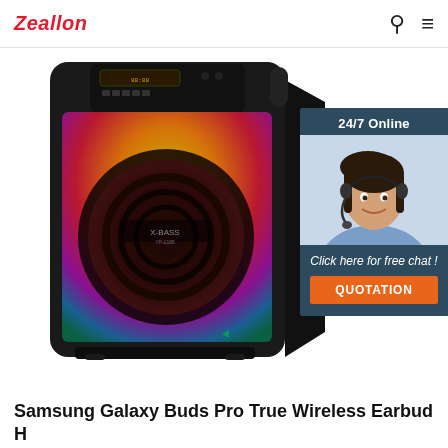Zeallon
[Figure (photo): A large portable Bluetooth speaker with colorful LED lighting (yellow, red, purple, teal gradient) on the front grille, black body, brand logo visible, on white background. Overlaid with a customer support chat widget showing a woman with headset, text '24/7 Online', 'Click here for free chat!', and an orange 'QUOTATION' button.]
Samsung Galaxy Buds Pro True Wireless Earbud Headphones